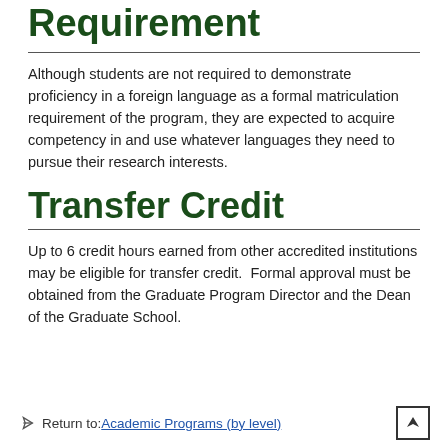Foreign Language Requirement
Although students are not required to demonstrate proficiency in a foreign language as a formal matriculation requirement of the program, they are expected to acquire competency in and use whatever languages they need to pursue their research interests.
Transfer Credit
Up to 6 credit hours earned from other accredited institutions may be eligible for transfer credit.  Formal approval must be obtained from the Graduate Program Director and the Dean of the Graduate School.
Return to: Academic Programs (by level)